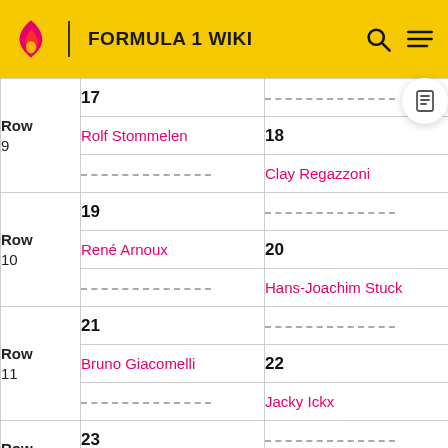FORMULA 1 WIKI
| Row | Left position / name | Right position / name |
| --- | --- | --- |
| Row 9 | 17 | — |
|  | Rolf Stommelen | 18 |
|  | — | Clay Regazzoni |
| Row 10 | 19 | — |
|  | René Arnoux | 20 |
|  | — | Hans-Joachim Stuck |
| Row 11 | 21 | — |
|  | Bruno Giacomelli | 22 |
|  | — | Jacky Ickx |
| Row 12 | 23 | — |
|  | Didier Pironi | 24 |